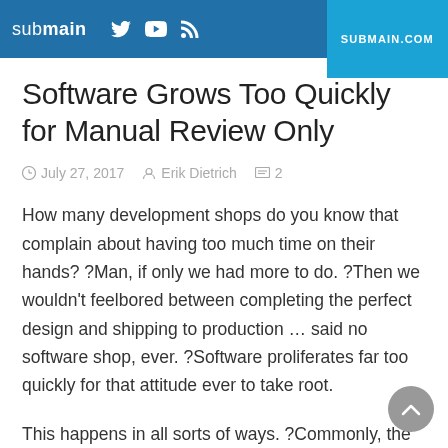submain | SUBMAIN.COM
Software Grows Too Quickly for Manual Review Only
July 27, 2017  Erik Dietrich  2
How many development shops do you know that complain about having too much time on their hands? ?Man, if only we had more to do. ?Then we wouldn’t feel?bored between completing the perfect design and shipping to production … said no software shop, ever. ?Software proliferates far too quickly for that attitude ever to take root.
This happens in all sorts of ways. ?Commonly, the business or the market exerts pressure to ship. ?